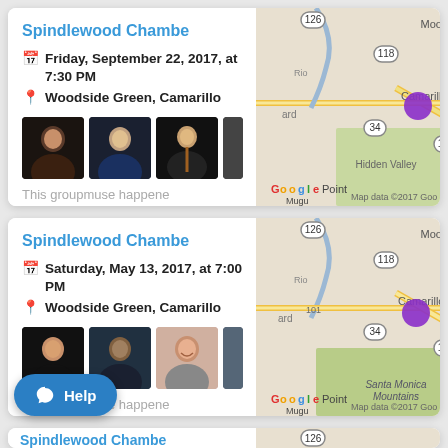Spindlewood Chambe...
Friday, September 22, 2017, at 7:30 PM
Woodside Green, Camarillo
[Figure (photo): Attendee photos (3 visible) for Spindlewood Chamber event Sep 22 2017]
This groupmuse happene...
[Figure (map): Google Map showing Camarillo area with purple location pin, showing routes 126, 118, 34, 101, Moorpark, Hidden Valley, Point Mugu. Map data ©2017 Goo]
Spindlewood Chambe...
Saturday, May 13, 2017, at 7:00 PM
Woodside Green, Camarillo
[Figure (photo): Attendee photos (3 visible) for Spindlewood Chamber event May 13 2017]
This groupmuse happene...
[Figure (map): Google Map showing Camarillo area with purple location pin, showing routes 126, 118, 34, 101, Moorpark, Santa Monica Mountains, Point Mugu. Map data ©2017 Goo]